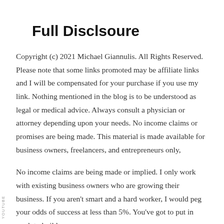Full Disclsoure
Copyright (c) 2021 Michael Giannulis. All Rights Reserved. Please note that some links promoted may be affiliate links and I will be compensated for your purchase if you use my link. Nothing mentioned in the blog is to be understood as legal or medical advice. Always consult a physician or attorney depending upon your needs. No income claims or promises are being made. This material is made available for business owners, freelancers, and entrepreneurs only,
No income claims are being made or implied. I only work with existing business owners who are growing their business. If you aren’t smart and a hard worker, I would peg your odds of success at less than 5%. You’ve got to put in work to build a